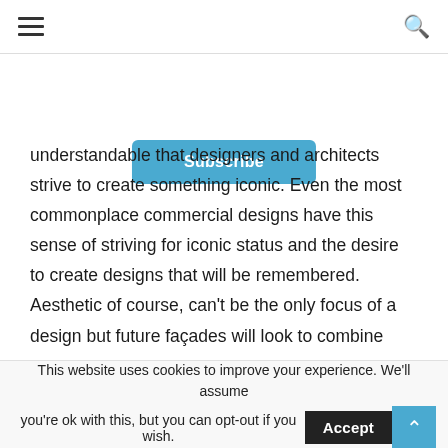≡  [navigation bar with hamburger menu and search icon]
Subscribe
understandable that designers and architects strive to create something iconic. Even the most commonplace commercial designs have this sense of striving for iconic status and the desire to create designs that will be remembered. Aesthetic of course, can't be the only focus of a design but future façades will look to combine inspirational design with practicality. Technology is allowing facades to be a meaningful element of the buildings they call home and there is no reason striking visuals can't be combined with functionality for a future which satisfies both requirements.
This website uses cookies to improve your experience. We'll assume you're ok with this, but you can opt-out if you wish. Accept